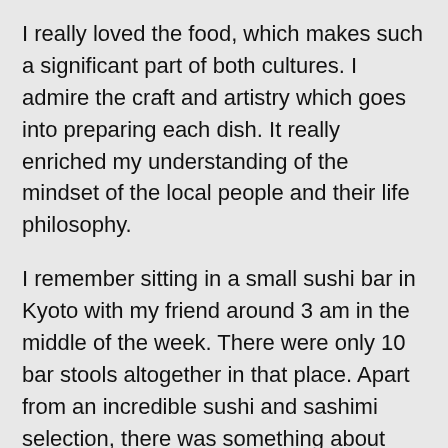I really loved the food, which makes such a significant part of both cultures. I admire the craft and artistry which goes into preparing each dish. It really enriched my understanding of the mindset of the local people and their life philosophy.
I remember sitting in a small sushi bar in Kyoto with my friend around 3 am in the middle of the week. There were only 10 bar stools altogether in that place. Apart from an incredible sushi and sashimi selection, there was something about sharing this tiny space, which gave me this homely feeling of comfort and safety. It made me contemplate on our sense of space and how it affects our experiences. This has influenced the way I make my music